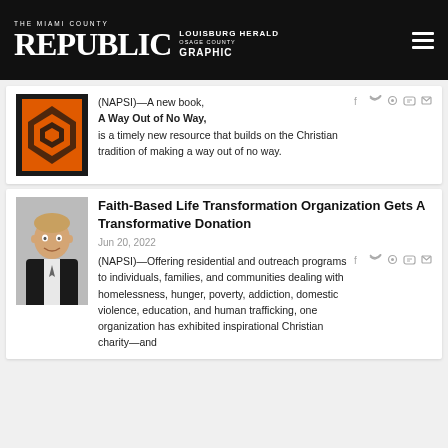THE MIAMI COUNTY REPUBLIC / LOUISBURG HERALD / OSAGE COUNTY GRAPHIC
[Figure (illustration): Book cover for 'A Way Out of No Way' with orange and black geometric pattern]
(NAPSI)—A new book, A Way Out of No Way, is a timely new resource that builds on the Christian tradition of making a way out of no way.
Faith-Based Life Transformation Organization Gets A Transformative Donation
Jun 20, 2022
[Figure (photo): Headshot of a man in a dark suit smiling]
(NAPSI)—Offering residential and outreach programs to individuals, families, and communities dealing with homelessness, hunger, poverty, addiction, domestic violence, education, and human trafficking, one organization has exhibited inspirational Christian charity—and